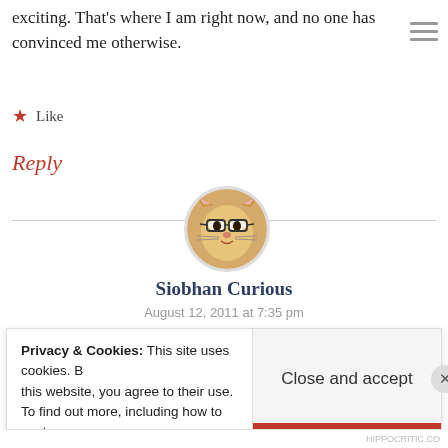exciting. That's where I am right now, and no one has convinced me otherwise.
★ Like
Reply
[Figure (photo): Circular avatar of a cat wearing glasses]
Siobhan Curious
August 12, 2011 at 7:35 pm
Privacy & Cookies: This site uses cookies. By continuing to use this website, you agree to their use.
To find out more, including how to control cookies, see here:
Cookie Policy
Close and accept